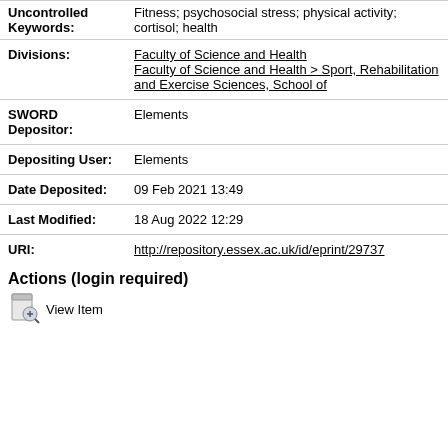| Field | Value |
| --- | --- |
| Uncontrolled Keywords: | Fitness; psychosocial stress; physical activity; cortisol; health |
| Divisions: | Faculty of Science and Health
Faculty of Science and Health > Sport, Rehabilitation and Exercise Sciences, School of |
| SWORD Depositor: | Elements |
| Depositing User: | Elements |
| Date Deposited: | 09 Feb 2021 13:49 |
| Last Modified: | 18 Aug 2022 12:29 |
| URI: | http://repository.essex.ac.uk/id/eprint/29737 |
Actions (login required)
View Item